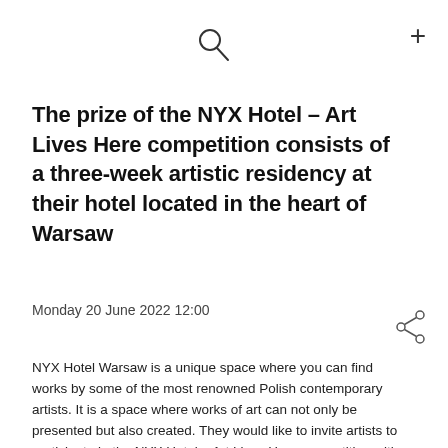[Figure (other): Search icon (magnifying glass) and plus icon in top navigation area]
The prize of the NYX Hotel – Art Lives Here competition consists of a three-week artistic residency at their hotel located in the heart of Warsaw
Monday 20 June 2022 12:00
[Figure (other): Share icon (network/share symbol)]
NYX Hotel Warsaw is a unique space where you can find works by some of the most renowned Polish contemporary artists. It is a space where works of art can not only be presented but also created. They would like to invite artists to participate in the NYX Hotel – Art Lives Here competition with the prize consisting of a three-week artistic residency at their hotel located in the heart of Warsaw.